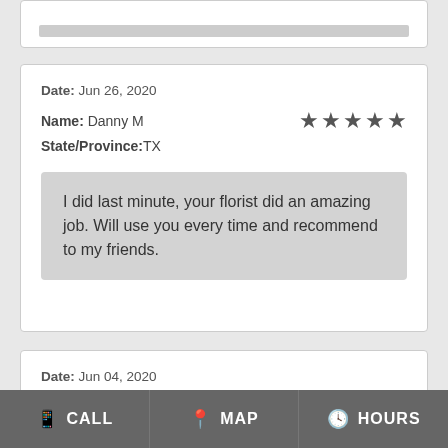Date: Jun 26, 2020
Name: Danny M
State/Province:TX
★★★★★
I did last minute, your florist did an amazing job. Will use you every time and recommend to my friends.
Date: Jun 04, 2020
Name: ROBIN M
State/Province:TX
★★★★★
CALL   MAP   HOURS